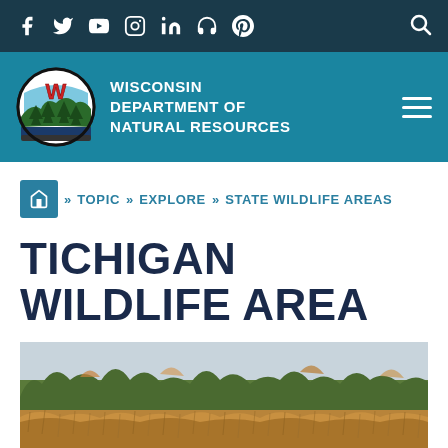Social media icons: Facebook, Twitter, YouTube, Instagram, LinkedIn, Podcast, Pinterest, Search
[Figure (logo): Wisconsin Department of Natural Resources logo - circular badge with W and pine trees, on teal header bar with agency name and hamburger menu]
WISCONSIN DEPARTMENT OF NATURAL RESOURCES
» TOPIC » EXPLORE » STATE WILDLIFE AREAS
TICHIGAN WILDLIFE AREA
[Figure (photo): Landscape photo of Tichigan Wildlife Area showing a broad field of golden-brown marsh grasses in the foreground with trees and a pale sky in the background]